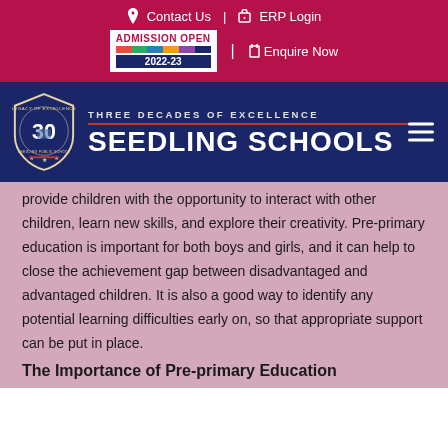Contact Us | ERP Login
ADMISSION OPEN 2022-23 | Enquire Now
[Figure (logo): Seedling Schools logo with shield showing '30 Legacy of Excellence' badge, tagline 'THREE DECADES OF EXCELLENCE' and 'SEEDLING SCHOOLS' in large white text on navy background]
provide children with the opportunity to interact with other children, learn new skills, and explore their creativity. Pre-primary education is important for both boys and girls, and it can help to close the achievement gap between disadvantaged and advantaged children. It is also a good way to identify any potential learning difficulties early on, so that appropriate support can be put in place.
The Importance of Pre-primary Education